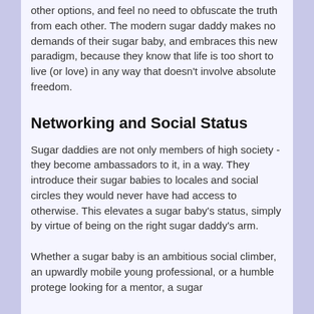other options, and feel no need to obfuscate the truth from each other. The modern sugar daddy makes no demands of their sugar baby, and embraces this new paradigm, because they know that life is too short to live (or love) in any way that doesn't involve absolute freedom.
Networking and Social Status
Sugar daddies are not only members of high society - they become ambassadors to it, in a way. They introduce their sugar babies to locales and social circles they would never have had access to otherwise. This elevates a sugar baby's status, simply by virtue of being on the right sugar daddy's arm.
Whether a sugar baby is an ambitious social climber, an upwardly mobile young professional, or a humble protege looking for a mentor, a sugar